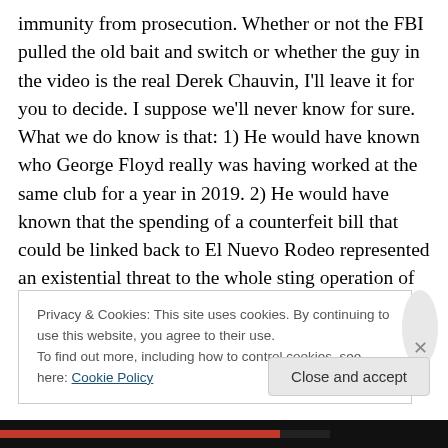immunity from prosecution. Whether or not the FBI pulled the old bait and switch or whether the guy in the video is the real Derek Chauvin, I'll leave it for you to decide. I suppose we'll never know for sure. What we do know is that: 1) He would have known who George Floyd really was having worked at the same club for a year in 2019. 2) He would have known that the spending of a counterfeit bill that could be linked back to El Nuevo Rodeo represented an existential threat to the whole sting operation of tracing these bills through the Minneapolis underworld. and 3) He would have followed out his orders
Privacy & Cookies: This site uses cookies. By continuing to use this website, you agree to their use.
To find out more, including how to control cookies, see here: Cookie Policy
Close and accept